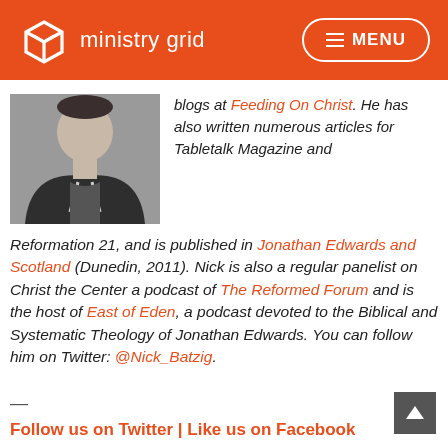ministry grid  MENU
[Figure (photo): Portrait photo of a man wearing a dark hoodie]
blogs at Feeding On Christ. He has also written numerous articles for Tabletalk Magazine and Reformation 21, and is published in Jonathan Edwards and Scotland (Dunedin, 2011). Nick is also a regular panelist on Christ the Center a podcast of The Reformed Forum and is the host of East of Eden, a podcast devoted to the Biblical and Systematic Theology of Jonathan Edwards. You can follow him on Twitter: @Nick_Batzig.
—
Follow us on Twitter | Like us on Facebook